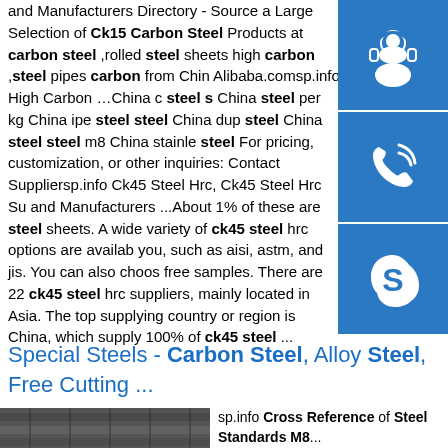Ck15 Carbon Steel, China Ck15 Carbon Steel Suppliers and Manufacturers Directory - Source a Large Selection of Ck15 Carbon Steel Products at carbon steel ,rolled steel sheets high carbon ,steel pipes carbon from China Alibaba.comsp.info High Carbon …China c steel s… China steel per kg China ipe steel steel China dup steel China steel steel m8 China stainle steel For pricing, customization, or other inquiries: Contact Suppliersp.info Ck45 Steel Hrc, Ck45 Steel Hrc Su… and Manufacturers ...About 1% of these are steel sheets. A wide variety of ck45 steel hrc options are available to you, such as aisi, astm, and jis. You can also choose free samples. There are 22 ck45 steel hrc suppliers, mainly located in Asia. The top supplying country or region is China, which supply 100% of ck45 steel ...
[Figure (infographic): Three blue sidebar buttons: headset/customer support icon, phone icon, Skype icon]
Special Steels - Carbon Steel, Alloy Steel, Free Cutting ...
[Figure (photo): Photo of steel sheets/metal material]
sp.info Cross Reference of Steel Standards M8...